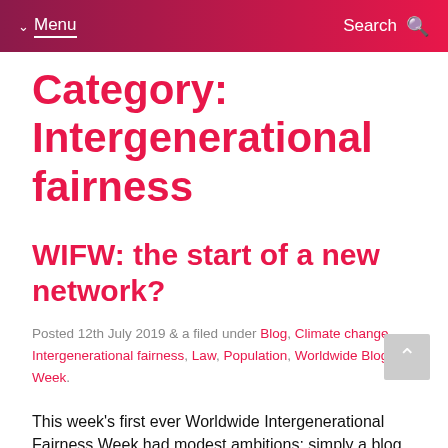Menu  Search
Category: Intergenerational fairness
WIFW: the start of a new network?
Posted 12th July 2019 & a filed under Blog, Climate change, Intergenerational fairness, Law, Population, Worldwide Blog Week.
This week's first ever Worldwide Intergenerational Fairness Week had modest ambitions: simply a blog...